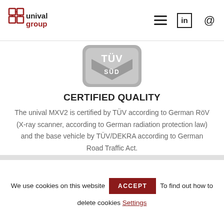unival group — header with logo, hamburger menu, LinkedIn and @ icons
[Figure (logo): TÜV SÜD certification logo — rounded rectangle badge in grey with TÜV text and SÜD below]
CERTIFIED QUALITY
The unival MXV2 is certified by TÜV according to German RöV (X-ray scanner, according to German radiation protection law) and the base vehicle by TÜV/DEKRA according to German Road Traffic Act.
We use cookies on this website   ACCEPT   To find out how to delete cookies Settings